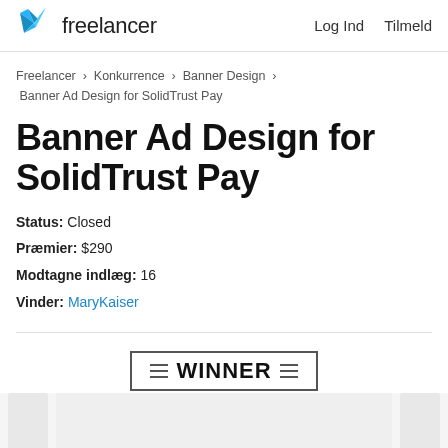Freelancer  Log Ind  Tilmeld
Freelancer › Konkurrence › Banner Design › Banner Ad Design for SolidTrust Pay
Banner Ad Design for SolidTrust Pay
Status: Closed
Præmier: $290
Modtagne indlæg: 16
Vinder: MaryKaiser
[Figure (other): Winner badge/ribbon graphic with the word WINNER in bold, flanked by horizontal lines on each side, inside a rectangular border. Below are partial image thumbnails.]